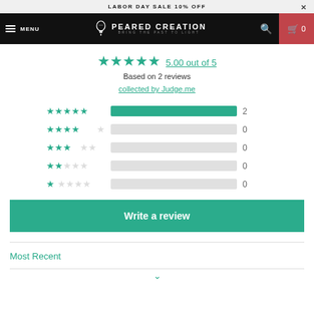LABOR DAY SALE 10% OFF
[Figure (screenshot): Navigation bar with hamburger menu, MENU text, Peared Creation logo with bulb icon and tagline 'BRING THE PAST TO LIGHT', search icon, and cart icon with count 0]
5.00 out of 5
Based on 2 reviews
collected by Judge.me
[Figure (bar-chart): Star rating distribution]
Write a review
Most Recent